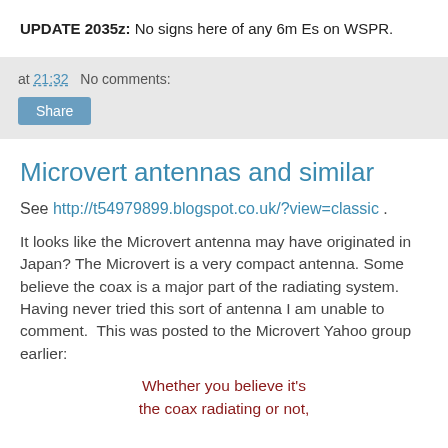UPDATE 2035z:  No signs here of any 6m Es on WSPR.
at 21:32   No comments:
Share
Microvert antennas and similar
See http://t54979899.blogspot.co.uk/?view=classic .
It looks like the Microvert antenna may have originated in Japan? The Microvert is a very compact antenna. Some believe the coax is a major part of the radiating system. Having never tried this sort of antenna I am unable to comment.  This was posted to the Microvert Yahoo group earlier:
Whether you believe it's the coax radiating or not,